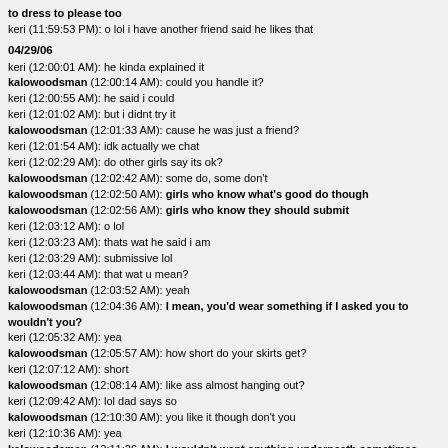to dress to please too
keri (11:59:53 PM): o lol i have another friend said he likes that
04/29/06
keri (12:00:01 AM): he kinda explained it
kalowoodsman (12:00:14 AM): could you handle it?
keri (12:00:55 AM): he said i could
keri (12:01:02 AM): but i didnt try it
kalowoodsman (12:01:33 AM): cause he was just a friend?
keri (12:01:54 AM): idk actually we chat
keri (12:02:29 AM): do other girls say its ok?
kalowoodsman (12:02:42 AM): some do, some don't
kalowoodsman (12:02:50 AM): girls who know what's good do though
kalowoodsman (12:02:56 AM): girls who know they should submit
keri (12:03:12 AM): o lol
keri (12:03:23 AM): thats wat he said i am
keri (12:03:29 AM): submissive lol
keri (12:03:44 AM): that wat u mean?
kalowoodsman (12:03:52 AM): yeah
kalowoodsman (12:04:36 AM): I mean, you'd wear something if I asked you to wouldn't you?
keri (12:05:32 AM): yea
kalowoodsman (12:05:57 AM): how short do your skirts get?
keri (12:07:12 AM): short
kalowoodsman (12:08:14 AM): like ass almost hanging out?
keri (12:09:42 AM): lol dad says so
kalowoodsman (12:10:30 AM): you like it though don't you
keri (12:10:36 AM): yea
kalowoodsman (12:11:26 AM): I wouldn't want anything underneath sometimes
keri (12:11:45 AM): k
kalowoodsman (12:12:45 AM): I think you're liking the thought of me domming you
keri (12:13:11 AM): maybe
kalowoodsman (12:14:06 AM): say yes
keri (12:14:15 AM): yes
kalowoodsman (12:15:10 AM): I hope it's more than just sex, what about you?
keri (12:15:29 AM): like what?
kalowoodsman (12:16:14 AM): well, what would you prefer?
keri (12:16:55 AM): wat do u mean?
kalowoodsman (12:18:07 AM): would you be fine with it just being me domming you at first...